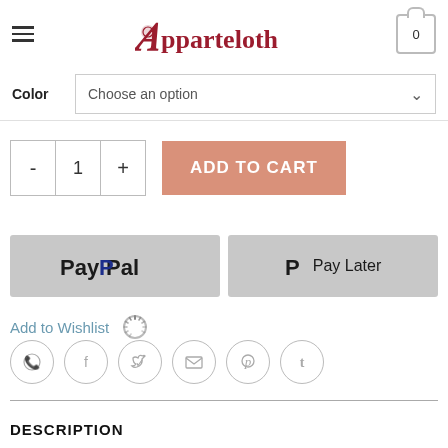[Figure (logo): Apparcloth logo with decorative red gothic-style lettering and small face motif in the A]
Color   Choose an option
ADD TO CART
[Figure (screenshot): PayPal button (gray background, PayPal bold text)]
[Figure (screenshot): Pay Later button (gray background, P logo and Pay Later text)]
Add to Wishlist
[Figure (other): Social sharing icons: WhatsApp, Facebook, Twitter, Email, Pinterest, Tumblr]
DESCRIPTION